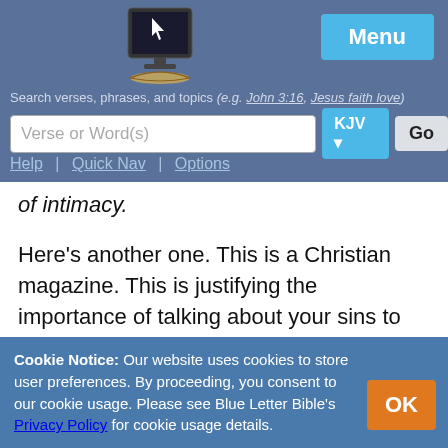Search verses, phrases, and topics (e.g. John 3:16, Jesus faith love) | Verse or Word(s) | KJV | Go | Help | Quick Nav | Options
of intimacy.
Here's another one. This is a Christian magazine. This is justifying the importance of talking about your sins to find out why you did them. Interesting article! It says that "the reason why a lot of people don't grow in Christ is because they don't discover why they did what they did. So they remain in this bondage, which needs to be broken." And I read the article and I
Cookie Notice: Our website uses cookies to store user preferences. By proceeding, you consent to our cookie usage. Please see Blue Letter Bible's Privacy Policy for cookie usage details. OK